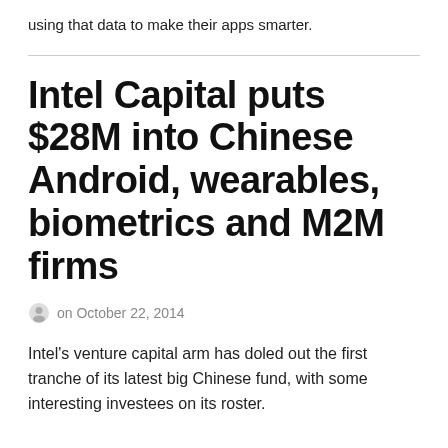using that data to make their apps smarter.
Intel Capital puts $28M into Chinese Android, wearables, biometrics and M2M firms
on October 22, 2014
Intel's venture capital arm has doled out the first tranche of its latest big Chinese fund, with some interesting investees on its roster.